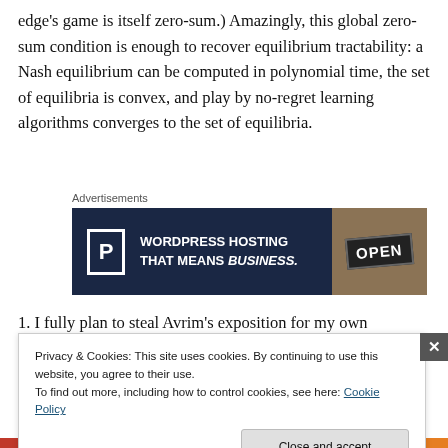edge's game is itself zero-sum.) Amazingly, this global zero-sum condition is enough to recover equilibrium tractability: a Nash equilibrium can be computed in polynomial time, the set of equilibria is convex, and play by no-regret learning algorithms converges to the set of equilibria.
Advertisements
[Figure (other): Advertisement banner for WordPress Hosting. Dark navy background with a P icon on the left, text reading 'WORDPRESS HOSTING THAT MEANS BUSINESS.' and an OPEN sign photo on the right.]
1. I fully plan to steal Avrim's exposition for my own
Privacy & Cookies: This site uses cookies. By continuing to use this website, you agree to their use.
To find out more, including how to control cookies, see here: Cookie Policy